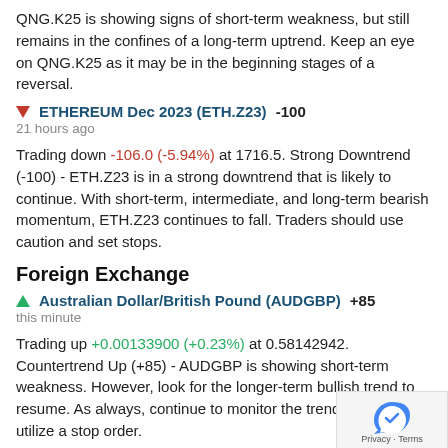QNG.K25 is showing signs of short-term weakness, but still remains in the confines of a long-term uptrend. Keep an eye on QNG.K25 as it may be in the beginning stages of a reversal.
▼ ETHEREUM Dec 2023 (ETH.Z23) -100
21 hours ago
Trading down -106.0 (-5.94%) at 1716.5. Strong Downtrend (-100) - ETH.Z23 is in a strong downtrend that is likely to continue. With short-term, intermediate, and long-term bearish momentum, ETH.Z23 continues to fall. Traders should use caution and set stops.
Foreign Exchange
▲ Australian Dollar/British Pound (AUDGBP) +85
this minute
Trading up +0.00133900 (+0.23%) at 0.58142942. Countertrend Up (+85) - AUDGBP is showing short-term weakness. However, look for the longer-term bullish trend to resume. As always, continue to monitor the trend score and utilize a stop order.
▼ South Korean Won/Swiss Franc (KRWCHF) -100
this minute